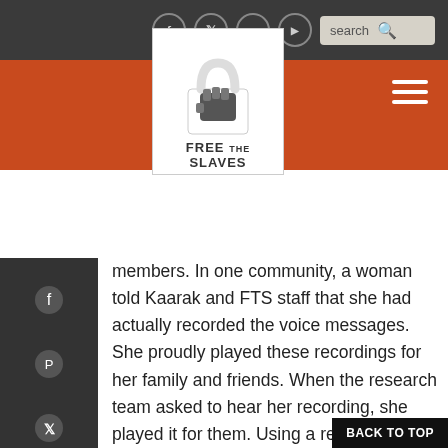Free the Slaves website header with logo, social icons, search bar, and navigation
[Figure (logo): Free the Slaves logo - padlock with fist icon, white text on dark background]
members. In one community, a woman told Kaarak and FTS staff that she had actually recorded the voice messages. She proudly played these recordings for her family and friends. When the research team asked to hear her recording, she played it for them. Using a recorded message helped people strike up conversations about exploitative working conditions, a topic rarely discussed openly. The candidness brought community members together and strengthened their resolve against